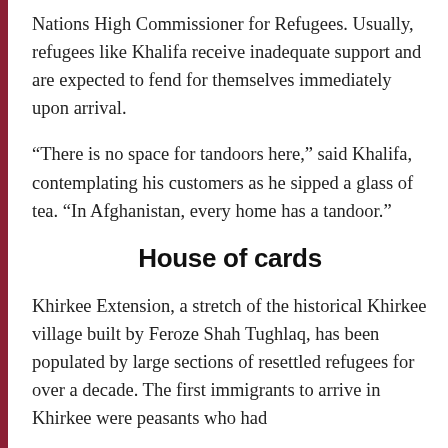Nations High Commissioner for Refugees. Usually, refugees like Khalifa receive inadequate support and are expected to fend for themselves immediately upon arrival.
“There is no space for tandoors here,” said Khalifa, contemplating his customers as he sipped a glass of tea. “In Afghanistan, every home has a tandoor.”
House of cards
Khirkee Extension, a stretch of the historical Khirkee village built by Feroze Shah Tughlaq, has been populated by large sections of resettled refugees for over a decade. The first immigrants to arrive in Khirkee were peasants who had